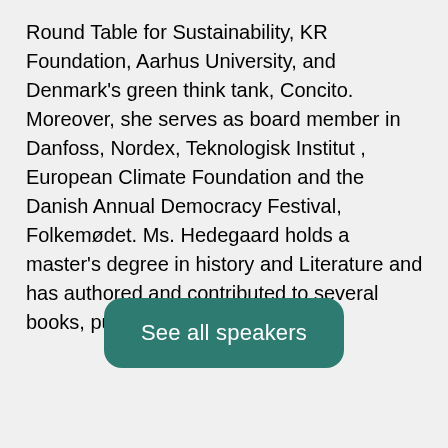Round Table for Sustainability, KR Foundation, Aarhus University, and Denmark's green think tank, Concito. Moreover, she serves as board member in Danfoss, Nordex, Teknologisk Institut , European Climate Foundation and the Danish Annual Democracy Festival, Folkemødet. Ms. Hedegaard holds a master's degree in history and Literature and has authored and contributed to several books, publications and columns.
See all speakers